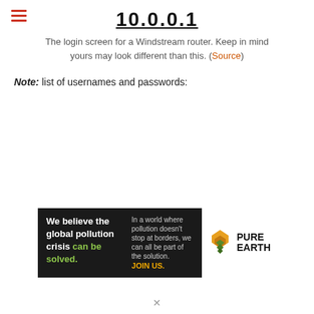10.0.0.1
The login screen for a Windstream router. Keep in mind yours may look different than this. (Source)
Note: list of usernames and passwords:
[Figure (infographic): Advertisement banner for Pure Earth organization. Left dark section says 'We believe the global pollution crisis can be solved.' with 'can be solved.' in green. Middle dark section says 'In a world where pollution doesn’t stop at borders, we can all be part of the solution. JOIN US.' with JOIN US in yellow. Right white section shows Pure Earth logo with diamond shapes icon.]
✕